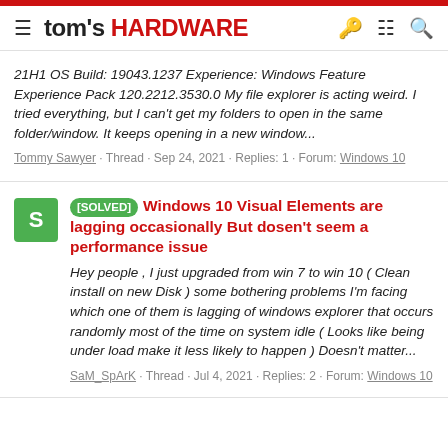tom's HARDWARE
21H1 OS Build: 19043.1237 Experience: Windows Feature Experience Pack 120.2212.3530.0 My file explorer is acting weird. I tried everything, but I can't get my folders to open in the same folder/window. It keeps opening in a new window...
Tommy Sawyer · Thread · Sep 24, 2021 · Replies: 1 · Forum: Windows 10
[SOLVED] Windows 10 Visual Elements are lagging occasionally But dosen't seem a performance issue
Hey people , I just upgraded from win 7 to win 10 ( Clean install on new Disk ) some bothering problems I'm facing which one of them is lagging of windows explorer that occurs randomly most of the time on system idle ( Looks like being under load make it less likely to happen ) Doesn't matter...
SaM_SpArK · Thread · Jul 4, 2021 · Replies: 2 · Forum: Windows 10